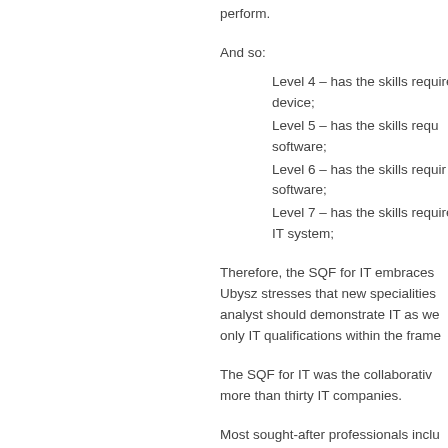perform.
And so:
Level 4 – has the skills required to work with a device;
Level 5 – has the skills required to work with software;
Level 6 – has the skills required to work with software;
Level 7 – has the skills required to work with an IT system;
Therefore, the SQF for IT embraces... Ubysz stresses that new specialities analyst should demonstrate IT as well as only IT qualifications within the frame...
The SQF for IT was the collaborative... more than thirty IT companies.
Most sought-after professionals inclu... administration of IT networks, e.g. d... growth and qualifications in the se...